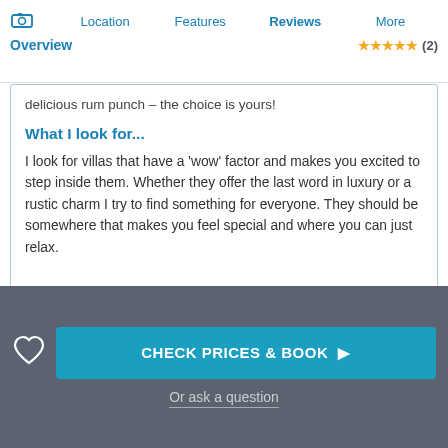📷 Location | Features | Reviews ★★★★★ (2) | More | Overview
delicious rum punch – the choice is yours!
What I look for...
I look for villas that have a 'wow' factor and makes you excited to step inside them. Whether they offer the last word in luxury or a rustic charm I try to find something for everyone. They should be somewhere that makes you feel special and where you can just relax.
THE LOCAL AREA
About the surrounding area of Little Good Harbour Ho
[Figure (other): Orange circular email/message button icon]
CHECK PRICES & BOOK ▶
Or ask a question